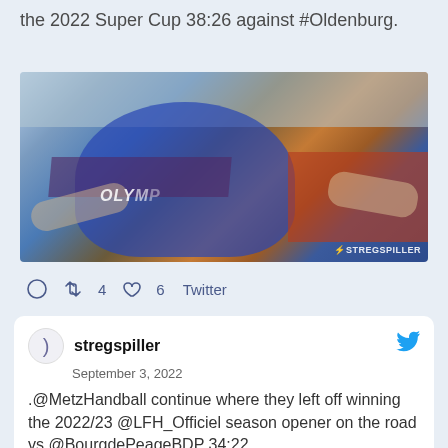the 2022 Super Cup 38:26 against #Oldenburg.
[Figure (photo): Handball player in blue Olymp jersey gesturing with arms wide, crowd in background, STREGSPILLER watermark]
4  6  Twitter
stregspiller
September 3, 2022
.@MetzHandball continue where they left off winning the 2022/23 @LFH_Officiel season opener on the road vs @BourgdePeageBDP 34:22